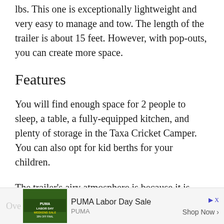lbs. This one is exceptionally lightweight and very easy to manage and tow. The length of the trailer is about 15 feet. However, with pop-outs, you can create more space.
Features
You will find enough space for 2 people to sleep, a table, a fully-equipped kitchen, and plenty of storage in the Taxa Cricket Camper. You can also opt for kid berths for your children.
The trailer's airy atmosphere is because it is surrounded by many windows that provide fresh and cool air. However, you can choose to opt for AC if you cannot handle hot temperatures.
[Figure (other): Advertisement banner for PUMA Labor Day Sale with an ad image showing PUMA Labor Day Weekend Sale text, and a Shop Now button]